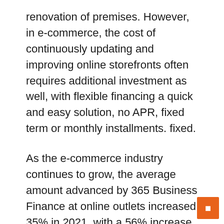renovation of premises. However, in e-commerce, the cost of continuously updating and improving online storefronts often requires additional investment as well, with flexible financing a quick and easy solution, no APR, fixed term or monthly installments. fixed.
As the e-commerce industry continues to grow, the average amount advanced by 365 Business Finance at online outlets increased 35% in 2021, with a 56% increase in 2020 compared to 2019.
365 Business Finance Managing Director Andrew Raphaely said: “We are now working with more and more SMEs in e-commerce as the COVID-19 pandemic has further accelerated consumers’